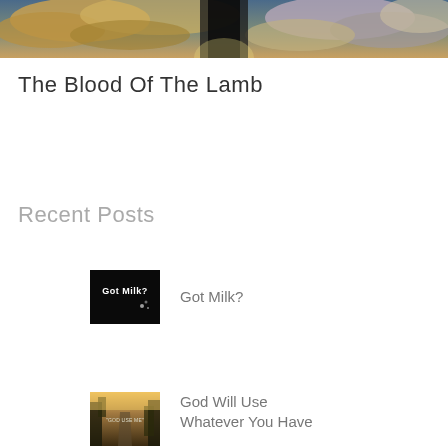[Figure (photo): Hero image showing clouds and sky with dramatic lighting, partially cropped at top]
The Blood Of The Lamb
Recent Posts
[Figure (photo): Thumbnail image with dark background and text 'Got Milk?' in white]
Got Milk?
[Figure (photo): Thumbnail image showing a road or path with trees, text 'GOD USE ME' visible]
God Will Use Whatever You Have